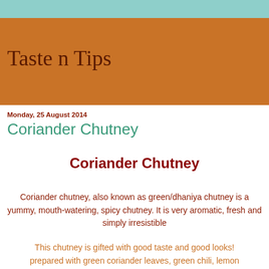Taste n Tips
Monday, 25 August 2014
Coriander Chutney
Coriander Chutney
Coriander chutney, also known as green/dhaniya chutney is a yummy, mouth-watering, spicy chutney. It is very aromatic, fresh and simply irresistible
This chutney is gifted with good taste and good looks! prepared with green coriander leaves, green chili, lemon